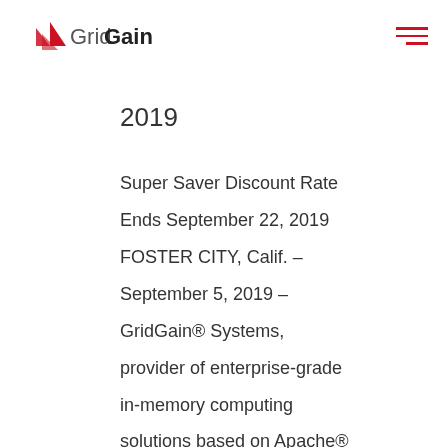GridGain
2019
Super Saver Discount Rate Ends September 22, 2019 FOSTER CITY, Calif. – September 5, 2019 – GridGain® Systems, provider of enterprise-grade in-memory computing solutions based on Apache® Ignite™, today offered a preview of breakout sessions for the fifth annual In-Memory